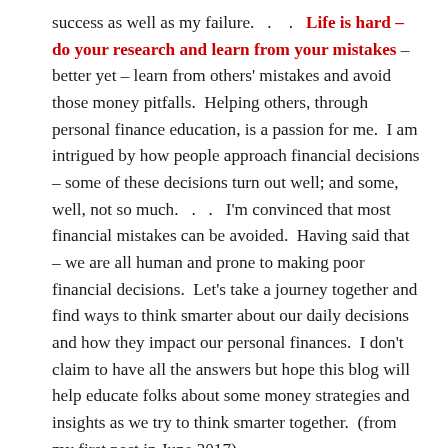success as well as my failure.  .   .  Life is hard – do your research and learn from your mistakes – better yet – learn from others' mistakes and avoid those money pitfalls.  Helping others, through personal finance education, is a passion for me.  I am intrigued by how people approach financial decisions – some of these decisions turn out well; and some, well, not so much.  .  .   I'm convinced that most financial mistakes can be avoided.  Having said that – we are all human and prone to making poor financial decisions.  Let's take a journey together and find ways to think smarter about our daily decisions and how they impact our personal finances.  I don't claim to have all the answers but hope this blog will help educate folks about some money strategies and insights as we try to think smarter together.  (from my first post in June 2017)